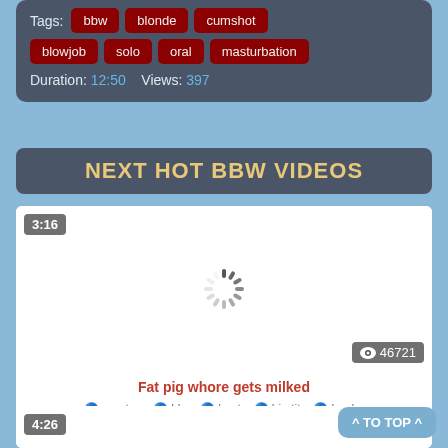Tags: bbw blonde cumshot blowjob solo oral masturbation
Duration: 12:50   Views: 397
NEXT HOT BBW VIDEOS
[Figure (screenshot): Video thumbnail with loading spinner, duration badge 3:16, views badge 46721]
Fat pig whore gets milked
amateur bbw busty big tits boobs natural thick tits
[Figure (screenshot): Second video card with duration badge 4:26]